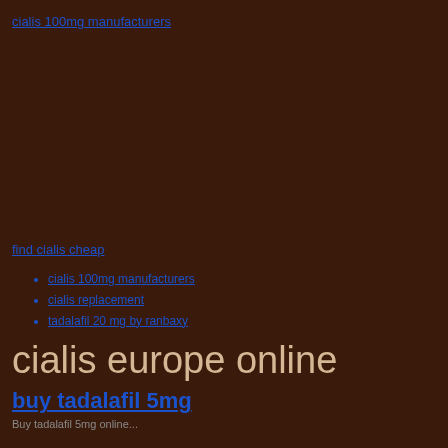cialis 100mg manufacturers
find cialis cheap
cialis 100mg manufacturers
cialis replacement
tadalafil 20 mg by ranbaxy
cialis europe online
buy tadalafil 5mg
Buy tadalafil 5mg online...